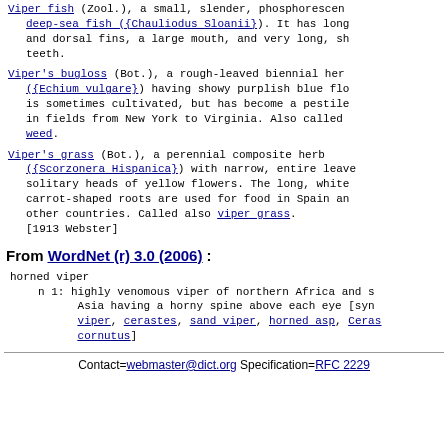Viper fish (Zool.), a small, slender, phosphorescent deep-sea fish ({Chauliodus Sloanii}). It has long and dorsal fins, a large mouth, and very long, sh teeth.
Viper's bugloss (Bot.), a rough-leaved biennial herb ({Echium vulgare}) having showy purplish blue flow is sometimes cultivated, but has become a pestile in fields from New York to Virginia. Also called weed.
Viper's grass (Bot.), a perennial composite herb ({Scorzonera Hispanica}) with narrow, entire leave solitary heads of yellow flowers. The long, white carrot-shaped roots are used for food in Spain and other countries. Called also viper grass. [1913 Webster]
From WordNet (r) 3.0 (2006) :
horned viper
     n 1: highly venomous viper of northern Africa and s Asia having a horny spine above each eye [syn: viper, cerastes, sand viper, horned asp, Ceras cornutus]
Contact=webmaster@dict.org Specification=RFC 2229